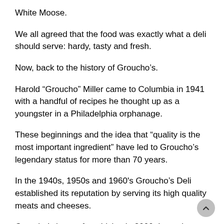White Moose.
We all agreed that the food was exactly what a deli should serve: hardy, tasty and fresh.
Now, back to the history of Groucho’s.
Harold “Groucho” Miller came to Columbia in 1941 with a handful of recipes he thought up as a youngster in a Philadelphia orphanage.
These beginnings and the idea that “quality is the most important ingredient” have led to Groucho’s legendary status for more than 70 years.
In the 1940s, 1950s and 1960's Groucho’s Deli established its reputation by serving its high quality meats and cheeses.
Groucho’s began franchising in 2000. It receives lots of franchise applications, but only executes about three new units each year.